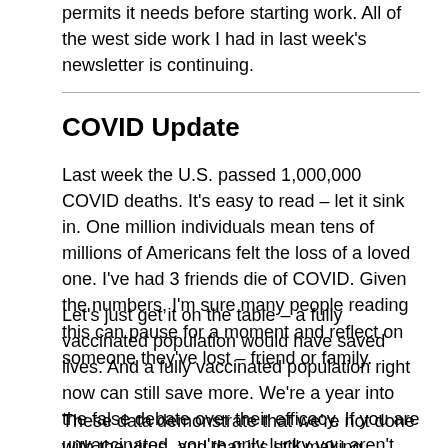permits it needs before starting work. All of the west side work I had in last week's newsletter is continuing.
COVID Update
Last week the U.S. passed 1,000,000 COVID deaths. It's easy to read – let it sink in. One million individuals mean tens of millions of Americans felt the loss of a loved one. I've had 3 friends die of COVID. Given the numbers, I'm sure many people reading this can pause for a moment and reflect on someone they've lost – friend or family.
Let's just get it on the table – a fully vaccinated population would have saved lives. And a fully vaccinated population right now can still save more. We're a year into the false debate over their efficacy. If you are unvaccinated, you're only lucky you aren't one of the statistics.
These data demonstrate that we're not done with the virus, and that it's still making significant impacts on peoples' lives.